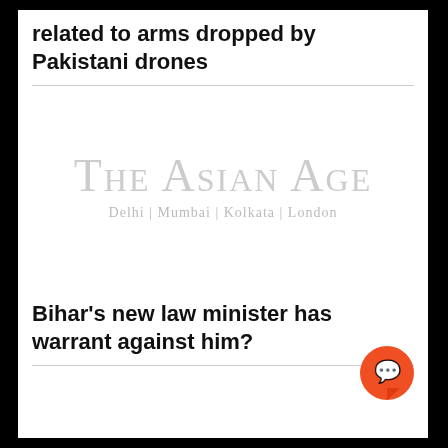related to arms dropped by Pakistani drones
[Figure (logo): The Asian Age newspaper logo with tagline: Delhi | Mumbai | Kolkata | London]
Bihar's new law minister has warrant against him?